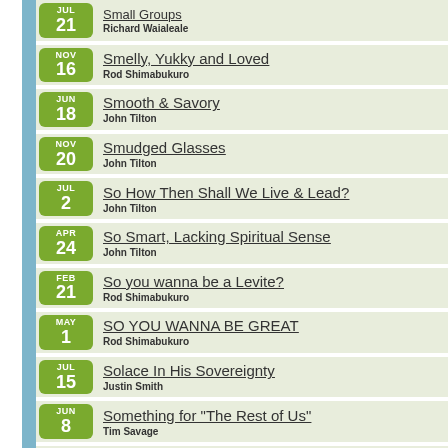JUL 21 | Small Groups | Richard Waialeale
NOV 16 | Smelly, Yukky and Loved | Rod Shimabukuro
JUN 18 | Smooth & Savory | John Tilton
NOV 20 | Smudged Glasses | John Tilton
JUL 2 | So How Then Shall We Live & Lead? | John Tilton
APR 24 | So Smart, Lacking Spiritual Sense | John Tilton
FEB 21 | So you wanna be a Levite? | Rod Shimabukuro
MAY 1 | SO YOU WANNA BE GREAT | Rod Shimabukuro
JUL 15 | Solace In His Sovereignty | Justin Smith
JUN 8 | Something for "The Rest of Us" | Tim Savage
MAR 13 | Sons & Daughters of the Most High | Tim Savage